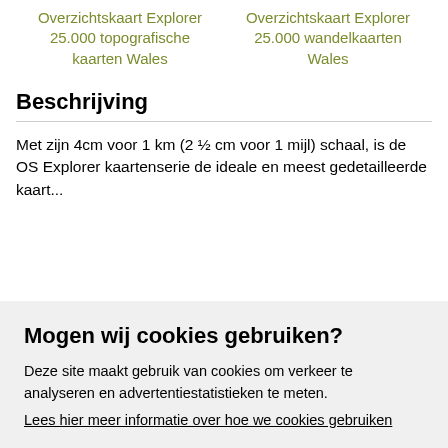Overzichtskaart Explorer 25.000 topografische kaarten Wales
Overzichtskaart Explorer 25.000 wandelkaarten Wales
Beschrijving
Met zijn 4cm voor 1 km (2 ½ cm voor 1 mijl) schaal, is de OS Explorer kaartenserie de ideale en meest gedetailleerde kaart...
Mogen wij cookies gebruiken?
Deze site maakt gebruik van cookies om verkeer te analyseren en advertentiestatistieken te meten.
Lees hier meer informatie over hoe we cookies gebruiken